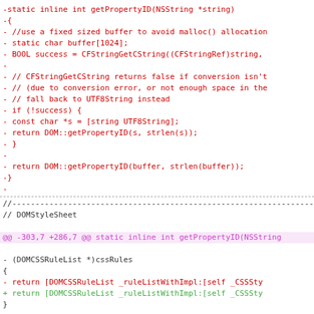[Figure (screenshot): A code diff view showing removed lines (in red/pink) of an Objective-C function getPropertyID and DOMStyleSheet insertRule, with hunk headers in purple and added lines in green, on a white background.]